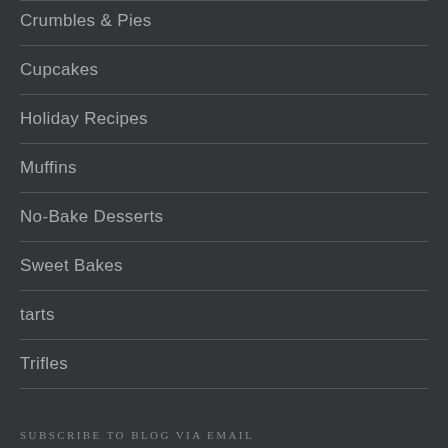Crumbles & Pies
Cupcakes
Holiday Recipes
Muffins
No-Bake Desserts
Sweet Bakes
tarts
Trifles
SUBSCRIBE TO BLOG VIA EMAIL
Enter your email address to subscribe to this blog